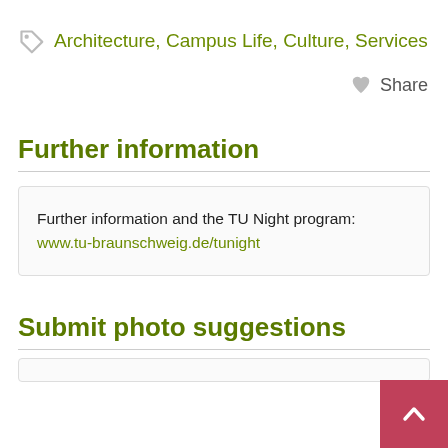Architecture, Campus Life, Culture, Services
Share
Further information
Further information and the TU Night program: www.tu-braunschweig.de/tunight
Submit photo suggestions